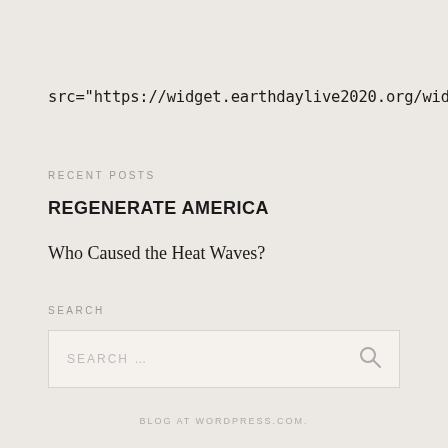src="https://widget.earthdaylive2020.org/widget.js" async
RECENT POSTS
REGENERATE AMERICA
Who Caused the Heat Waves?
SEARCH
SEARCH ...
BLOG AT WORDPRESS.COM.